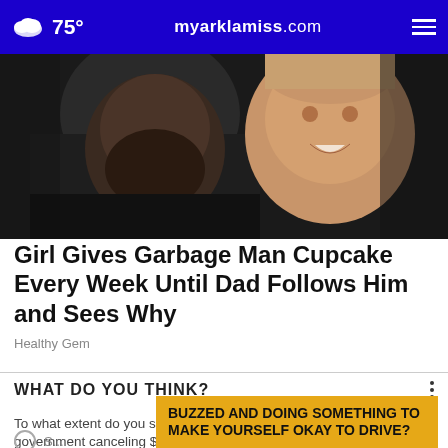75° myarklamiss.com
[Figure (photo): Photo of a bearded man and a smiling toddler child close together]
Girl Gives Garbage Man Cupcake Every Week Until Dad Follows Him and Sees Why
Healthy Gem
WHAT DO YOU THINK?
To what extent do you support or oppose the federal government canceling $10,000 of student debt?
BUZZED AND DOING SOMETHING TO MAKE YOURSELF OKAY TO DRIVE?